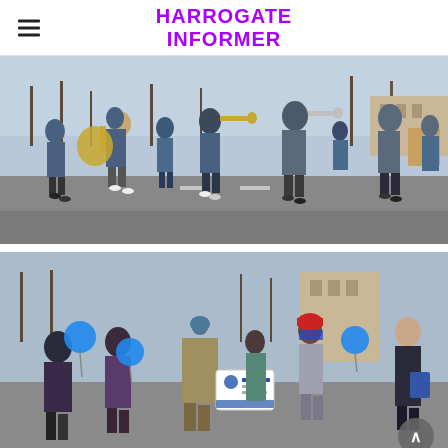HARROGATE INFORMER
[Figure (photo): Marching band of young people in blue jackets playing brass instruments and percussion along a street, bare winter trees and a stone building visible in the background.]
[Figure (photo): Group of people walking in an outdoor event, holding blue balloons and a sign with a HIVE logo, on a city street with trees and buildings in the background. A back-to-top button is visible in the bottom right corner.]